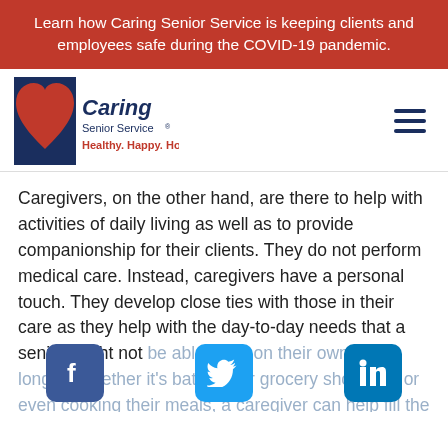Learn how Caring Senior Service is keeping clients and employees safe during the COVID-19 pandemic.
[Figure (logo): Caring Senior Service logo with red heart and blue square, tagline Healthy. Happy. Home.]
Caregivers, on the other hand, are there to help with activities of daily living as well as to provide companionship for their clients. They do not perform medical care. Instead, caregivers have a personal touch. They develop close ties with those in their care as they help with the day-to-day needs that a senior might not be able to do on their own any longer. Whether it's bathing, or grocery shopping, or even cooking their meals, a caregiver can help fill the gap for seniors who otherwise would not be able to continue living on their own.
[Figure (infographic): Social media icons: Facebook (blue), Twitter (blue bird), LinkedIn (blue)]